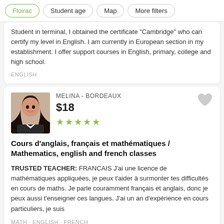Floirac | Student age | Map | More filters
Student in terminal, I obtained the certificate "Cambridge" who can certify my level in English. I am currently in European section in my establishment. I offer support courses in English, primary, college and high school.
ENGLISH
MELINA - BORDEAUX
$18
★★★★★
Cours d'anglais, français et mathématiques / Mathematics, english and french classes
TRUSTED TEACHER: FRANCAIS J'ai une licence de mathématiques appliquées, je peux t'aider à surmonter tes difficultés en cours de maths. Je parle couramment français et anglais, donc je peux aussi t'enseigner ces langues. J'ai un an d'expérience en cours particuliers, je suis
MATH · ENGLISH · FRENCH